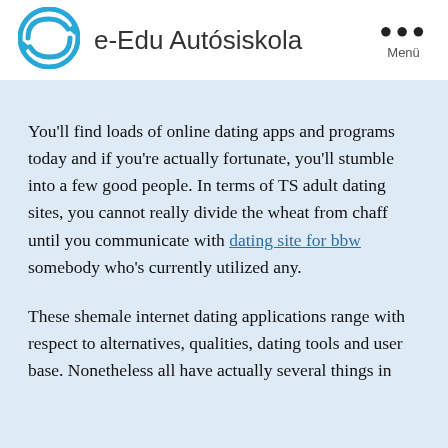[Figure (logo): e-Edu Autósiskola circular logo with arrow/steering wheel icon in blue]
e-Edu Autósiskola
You'll find loads of online dating apps and programs today and if you're actually fortunate, you'll stumble into a few good people. In terms of TS adult dating sites, you cannot really divide the wheat from chaff until you communicate with dating site for bbw somebody who's currently utilized any.
These shemale internet dating applications range with respect to alternatives, qualities, dating tools and user base. Nonetheless all have actually several things in common, they are created to assist individuals...